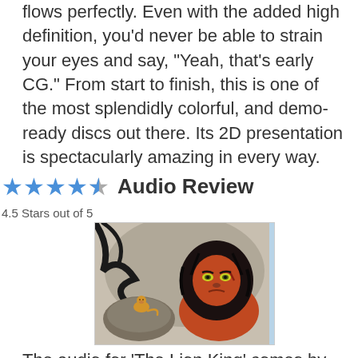flows perfectly. Even with the added high definition, you'd never be able to strain your eyes and say, "Yeah, that's early CG." From start to finish, this is one of the most splendidly colorful, and demo-ready discs out there. Its 2D presentation is spectacularly amazing in every way.
★★★★½ Audio Review
4.5 Stars out of 5
[Figure (photo): Scene from The Lion King animated film showing Simba as a cub standing on a rock in the foreground, and Scar (adult lion with dark mane and green eyes) in the background.]
The audio for 'The Lion King' comes by way of a